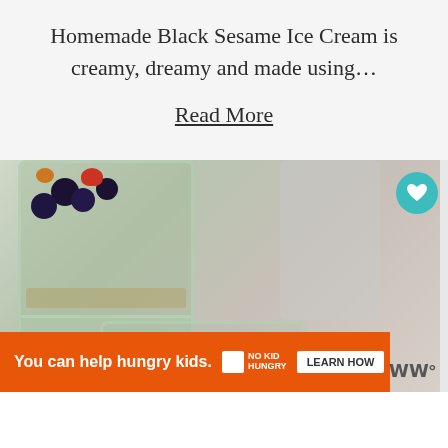Homemade Black Sesame Ice Cream is creamy, dreamy and made using…
Read More
[Figure (photo): Food photo showing glass jars with chia pudding topped with fresh berries including blueberries and strawberries, with a smoothie or shake glass in the background on a light background.]
WHAT'S NEXT → Banana Spinach...
You can help hungry kids. NO KID HUNGRY LEARN HOW